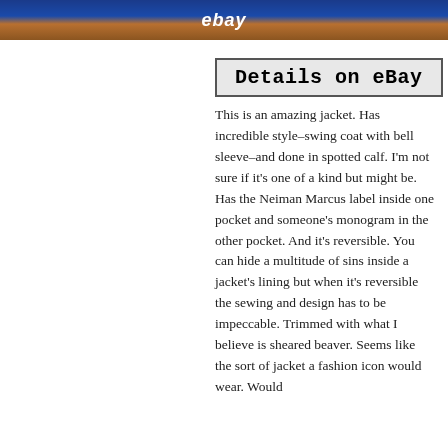[Figure (photo): Top portion of an eBay product listing image showing text 'ebay' over what appears to be a fur or animal-patterned jacket photo]
Details on eBay
This is an amazing jacket. Has incredible style–swing coat with bell sleeve–and done in spotted calf. I'm not sure if it's one of a kind but might be. Has the Neiman Marcus label inside one pocket and someone's monogram in the other pocket. And it's reversible. You can hide a multitude of sins inside a jacket's lining but when it's reversible the sewing and design has to be impeccable. Trimmed with what I believe is sheared beaver. Seems like the sort of jacket a fashion icon would wear. Would